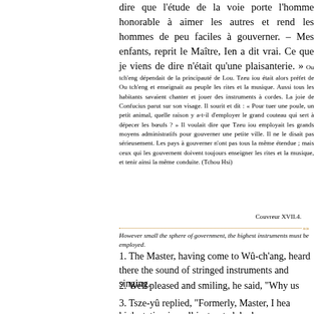dire que l'étude de la voie porte l'homme honorable à aimer les autres et rend les hommes de peu faciles à gouverner. – Mes enfants, reprit le Maître, Ien a dit vrai. Ce que je viens de dire n'était qu'une plaisanterie. » Ou tch'eng dépendait de la principauté de Lou. Tzeu iou était alors préfet de Ou tch'eng et enseignait au peuple les rites et la musique. Aussi tous les habitants savaient chanter et jouer des instruments à cordes. La joie de Confucius parut sur son visage. Il sourit et dit : « Pour tuer une poule, un petit animal, quelle raison y a-t-il d'employer le grand couteau qui sert à dépecer les bœufs ? » Il voulait dire que Tzeu iou employait les grands moyens administratifs pour gouverner une petite ville. Il ne le disait pas sérieusement. Les pays à gouverner n'ont pas tous la même étendue ; mais ceux qui les gouvernent doivent toujours enseigner les rites et la musique, et tenir ainsi la même conduite. (Tchou Hsi)
Couvreur XVII.4.
However small the sphere of government, the highest instruments must be employed.
1. The Master, having come to Wû-ch'ang, heard there the sound of stringed instruments and singing.
2. Well pleased and smiling, he said, "Why use an ox-knife to kill a fowl?"
3. Tsze-yû replied, "Formerly, Master, I heard you say,- 'When the man of high station is well instructed, he loves men;...'